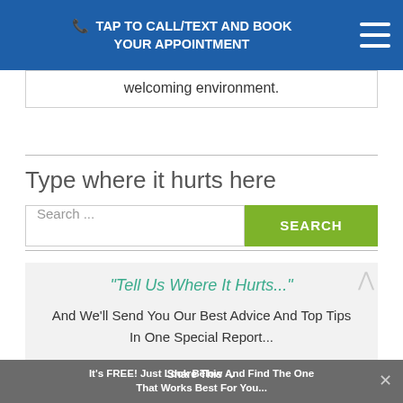TAP TO CALL/TEXT AND BOOK YOUR APPOINTMENT
welcoming environment.
Type where it hurts here
Search ...
SEARCH
"Tell Us Where It Hurts..."
And We'll Send You Our Best Advice And Top Tips In One Special Report...
It's FREE! Just Look Below And Find The One That Works Best For You... Share This ×